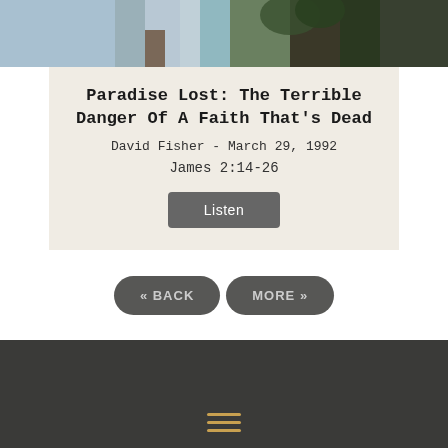[Figure (photo): Partial view of a brick church building with trees and blue sky]
Paradise Lost: The Terrible Danger Of A Faith That's Dead
David Fisher - March 29, 1992
James 2:14-26
Listen
« BACK
MORE »
[Figure (other): Dark footer section with hamburger menu icon in gold/orange color]